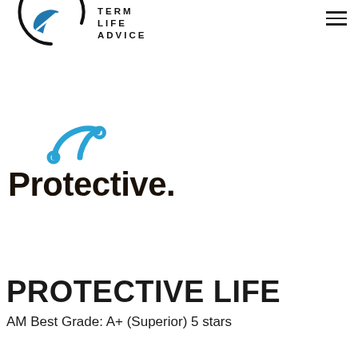[Figure (logo): Term Life Advice logo: circular icon with a blue leaf/compass shape and black text 'TERM LIFE ADVICE' in spaced capitals]
[Figure (logo): Protective Life logo: blue arc/diamond shape above black text 'Protective.' with a period]
PROTECTIVE LIFE
AM Best Grade: A+ (Superior) 5 stars